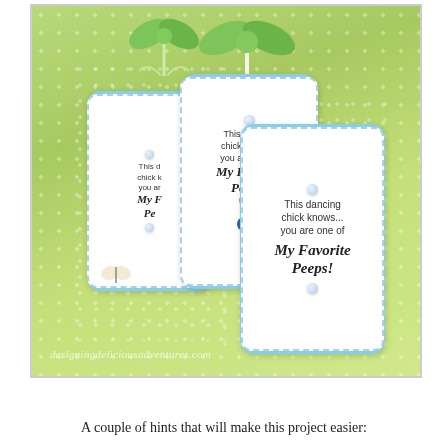[Figure (photo): Two green polka-dot gift boxes with blue decorative label tags reading 'This dancing chick knows... you are one of My Favorite Peeps!' with pearl embellishments and ribbon bows on top. Watermark text reads 'designingdeliciousadventures.com']
A couple of hints that will make this project easier: